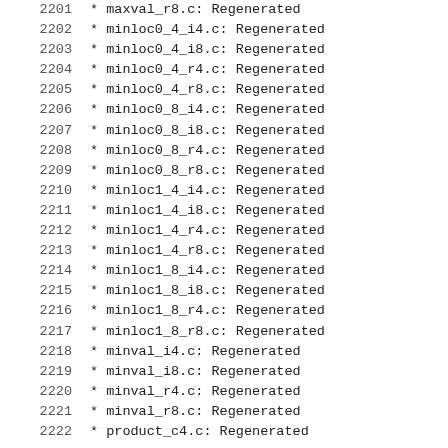2201    * maxval_r8.c: Regenerated
2202    * minloc0_4_i4.c: Regenerated
2203    * minloc0_4_i8.c: Regenerated
2204    * minloc0_4_r4.c: Regenerated
2205    * minloc0_4_r8.c: Regenerated
2206    * minloc0_8_i4.c: Regenerated
2207    * minloc0_8_i8.c: Regenerated
2208    * minloc0_8_r4.c: Regenerated
2209    * minloc0_8_r8.c: Regenerated
2210    * minloc1_4_i4.c: Regenerated
2211    * minloc1_4_i8.c: Regenerated
2212    * minloc1_4_r4.c: Regenerated
2213    * minloc1_4_r8.c: Regenerated
2214    * minloc1_8_i4.c: Regenerated
2215    * minloc1_8_i8.c: Regenerated
2216    * minloc1_8_r4.c: Regenerated
2217    * minloc1_8_r8.c: Regenerated
2218    * minval_i4.c: Regenerated
2219    * minval_i8.c: Regenerated
2220    * minval_r4.c: Regenerated
2221    * minval_r8.c: Regenerated
2222    * product_c4.c: Regenerated